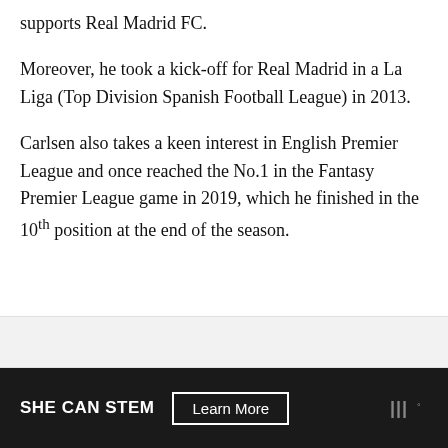supports Real Madrid FC.
Moreover, he took a kick-off for Real Madrid in a La Liga (Top Division Spanish Football League) in 2013.
Carlsen also takes a keen interest in English Premier League and once reached the No.1 in the Fantasy Premier League game in 2019, which he finished in the 10th position at the end of the season.
SHE CAN STEM   Learn More